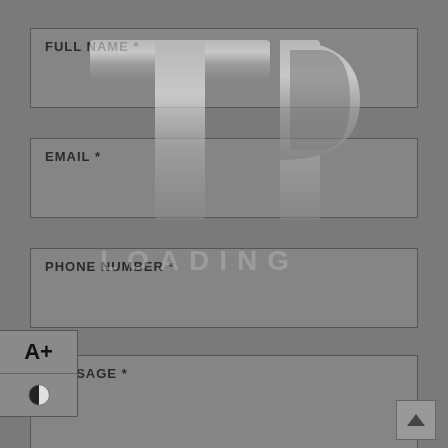[Figure (logo): TP metallic silver logo watermark overlaid on form, with LOADING text below]
FULL NAME *
EMAIL *
PHONE NUMBER *
MESSAGE *